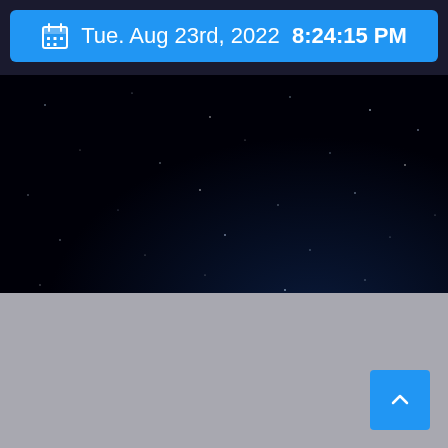Tue. Aug 23rd, 2022  8:24:15 PM
[Figure (photo): Night sky with faint stars and a dark blue/black background, with a faint green/blue light streak in the lower right corner — appears to be a screenshot of a stargazing or astronomy application]
[Figure (other): Plain gray rectangle — lower portion of application window/UI]